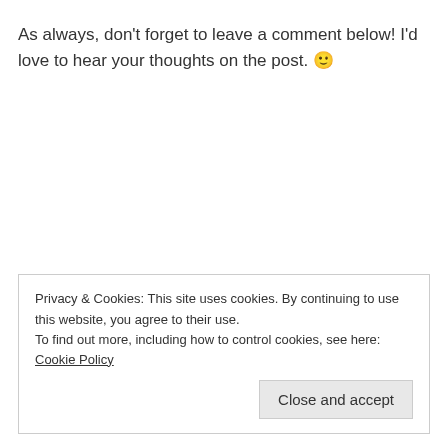As always, don't forget to leave a comment below! I'd love to hear your thoughts on the post. 🙂
Privacy & Cookies: This site uses cookies. By continuing to use this website, you agree to their use.
To find out more, including how to control cookies, see here: Cookie Policy
Close and accept